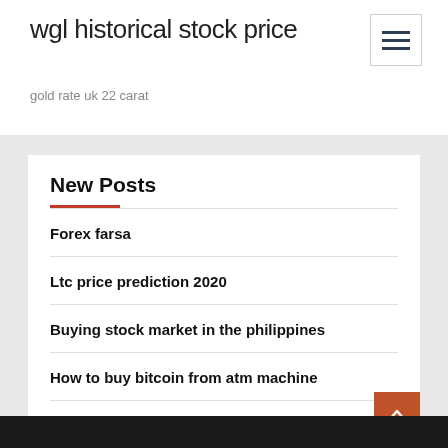wgl historical stock price
gold rate uk 22 carat
New Posts
Forex farsa
Ltc price prediction 2020
Buying stock market in the philippines
How to buy bitcoin from atm machine
Forex tester data download